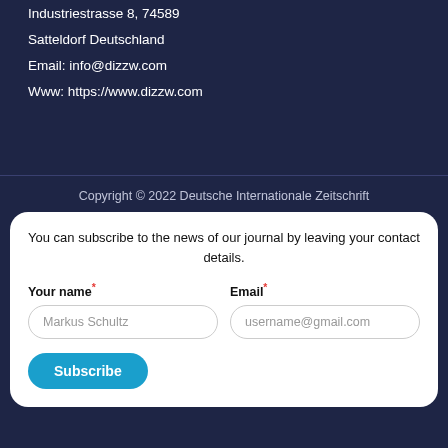Industriestrasse 8, 74589
Satteldorf Deutschland
Email: info@dizzw.com
Www: https://www.dizzw.com
Copyright © 2022 Deutsche Internationale Zeitschrift
You can subscribe to the news of our journal by leaving your contact details.
Your name*
Email*